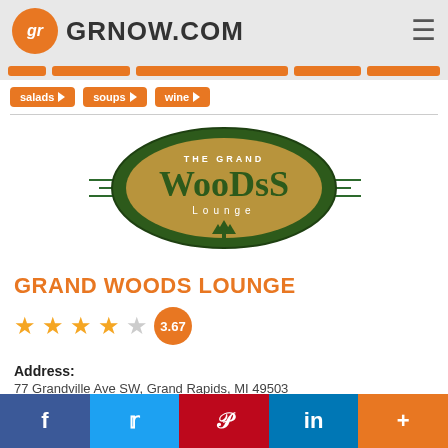GRNOW.COM
salads
soups
wine
[Figure (logo): The Grand Woods Lounge logo — dark green oval with gold/brown center and horizontal speed lines, text reads 'The Grand Woods Lounge']
GRAND WOODS LOUNGE
3.67 (4 stars out of 5 rating)
Address:
77 Grandville Ave SW, Grand Rapids, MI 49503
f  Twitter  Pinterest  in  +